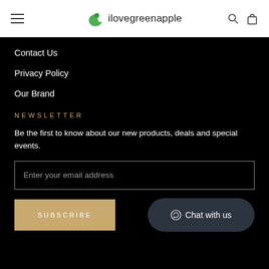ilovegreenapple
Contact Us
Privacy Policy
Our Brand
NEWSLETTER
Be the first to know about our new products, deals and special events.
Enter your email address
SUBSCRIBE
Chat with us